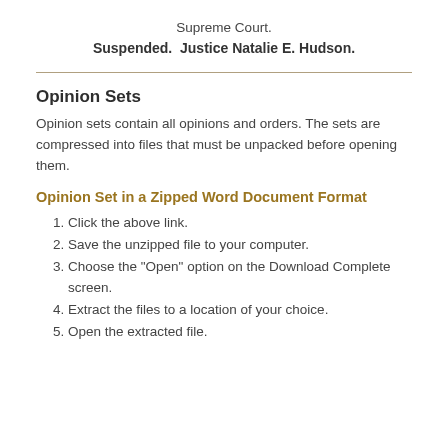Supreme Court.
Suspended. Justice Natalie E. Hudson.
Opinion Sets
Opinion sets contain all opinions and orders. The sets are compressed into files that must be unpacked before opening them.
Opinion Set in a Zipped Word Document Format
Click the above link.
Save the unzipped file to your computer.
Choose the "Open" option on the Download Complete screen.
Extract the files to a location of your choice.
Open the extracted file.